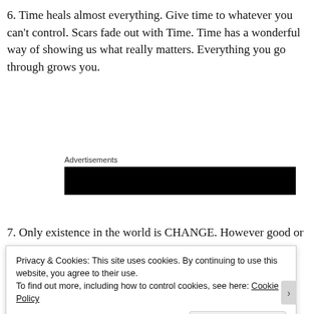6. Time heals almost everything. Give time to whatever you can't control. Scars fade out with Time. Time has a wonderful way of showing us what really matters. Everything you go through grows you.
Advertisements
[Figure (other): Black advertisement banner]
7. Only existence in the world is CHANGE. However good or
Privacy & Cookies: This site uses cookies. By continuing to use this website, you agree to their use.
To find out more, including how to control cookies, see here: Cookie Policy
Close and accept